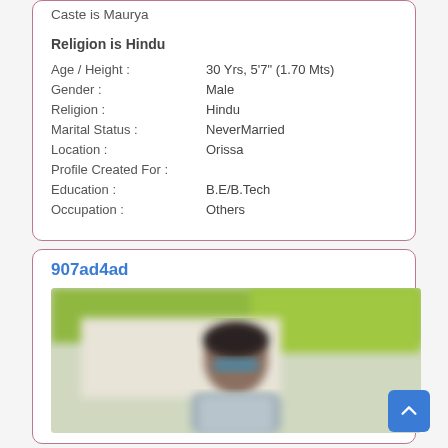Caste is Maurya
Religion is Hindu
Age / Height : 30 Yrs, 5'7" (1.70 Mts)
Gender : Male
Religion : Hindu
Marital Status : NeverMarried
Location : Orissa
Profile Created For :
Education : B.E/B.Tech
Occupation : Others
907ad4ad
[Figure (photo): Blurred photo of a man wearing sunglasses outdoors with green background]